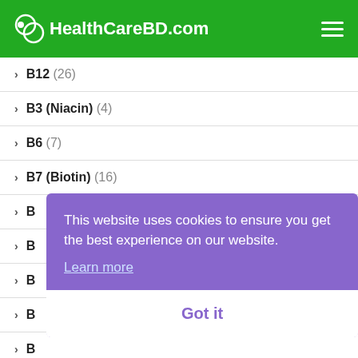HealthCareBD.com
B12 (26)
B3 (Niacin) (4)
B6 (7)
B7 (Biotin) (16)
B (partially hidden)
B (partially hidden)
B (partially hidden)
B (partially hidden)
B (partially hidden)
Baby Products (202)
This website uses cookies to ensure you get the best experience on our website. Learn more
Got it